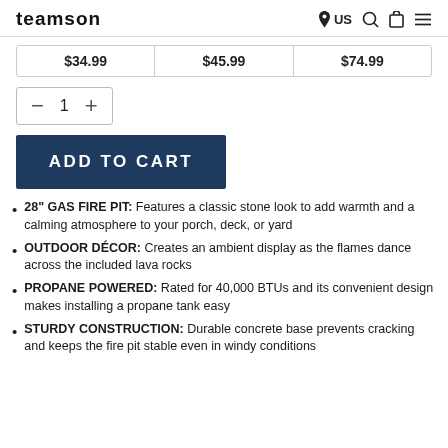teamson  US
$34.99  $45.99  $74.99
- 1 +
ADD TO CART
28" GAS FIRE PIT: Features a classic stone look to add warmth and a calming atmosphere to your porch, deck, or yard
OUTDOOR DÉCOR: Creates an ambient display as the flames dance across the included lava rocks
PROPANE POWERED: Rated for 40,000 BTUs and its convenient design makes installing a propane tank easy
STURDY CONSTRUCTION: Durable concrete base prevents cracking and keeps the fire pit stable even in windy conditions